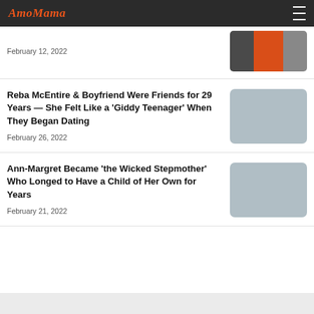AmoMama
February 12, 2022
Reba McEntire & Boyfriend Were Friends for 29 Years — She Felt Like a 'Giddy Teenager' When They Began Dating
February 26, 2022
Ann-Margret Became 'the Wicked Stepmother' Who Longed to Have a Child of Her Own for Years
February 21, 2022